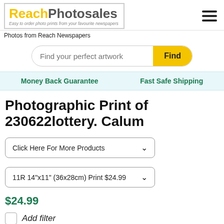[Figure (logo): ReachPhotosales logo with yellow 'Reach' and grey 'Photosales' text, tagline 'Easy to order photo prints from your favourite newspapers']
Photos from Reach Newspapers
Find your perfect artwork
Money Back Guarantee
Fast Safe Shipping
Photographic Print of 230622lottery. Calum
Click Here For More Products
11R 14"x11" (36x28cm) Print $24.99
$24.99
Add filter